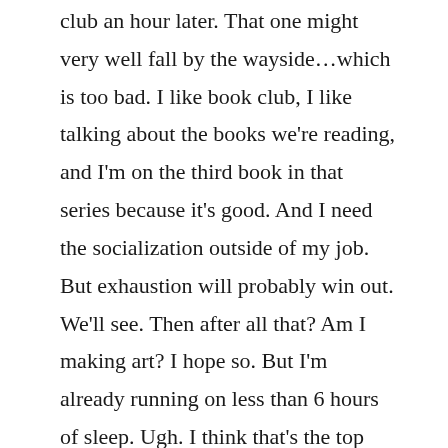club an hour later. That one might very well fall by the wayside…which is too bad. I like book club, I like talking about the books we're reading, and I'm on the third book in that series because it's good. And I need the socialization outside of my job. But exhaustion will probably win out. We'll see. Then after all that? Am I making art? I hope so. But I'm already running on less than 6 hours of sleep. Ugh. I think that's the top thing my doc wishes I would do: sleep more. Why? I'm really bad at it. I lie around wide awake a lot as it is. Then she'd like me to exercise more. So would I, but life gets in the way. OK, though, it's time to get out of here for Task 1. Then art at the end. Goals.
Oh yeah, I got into a local show…#rrrr Reduced, Restricted, Reserved but Resilient, showing at The Front